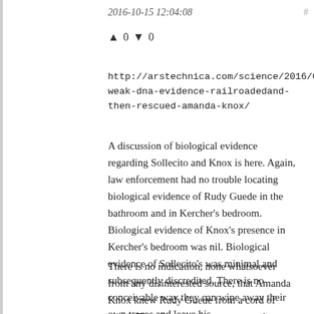2016-10-15 12:04:08
↑ 0 ↓ 0
http://arstechnica.com/science/2016/09/how-weak-dna-evidence-railroadedand-then-rescued-amanda-knox/
A discussion of biological evidence regarding Sollecito and Knox is here. Again, law enforcement had no trouble locating biological evidence of Rudy Guede in the bathroom and in Kercher's bedroom. Biological evidence of Knox's presence in Kercher's bedroom was nil. Biological evidence of Sollecito's was minimal and subsequently discredited. There is no conceivable way they can wipe away their own traces and leave his.
There is no indication, none whatsoever from any disinterested source, that Amanda Knox knew Rudy Guede from a cord of wood. The closest you get to any such testimony is a statement from one of the residents in the house to demonstrate that Knox and Sollecito had...